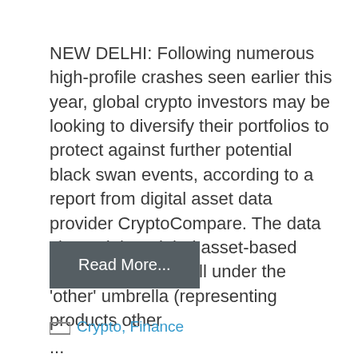NEW DELHI: Following numerous high-profile crashes seen earlier this year, global crypto investors may be looking to diversify their portfolios to protect against further potential black swan events, according to a report from digital asset data provider CryptoCompare. The data showed that global asset-based crypto funds that fall under the 'other' umbrella (representing products other ...
Read More...
Crypto, Finance